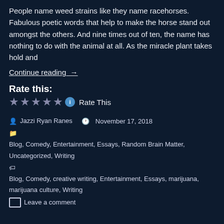People name weed strains like they name racehorses. Fabulous poetic words that help to make the horse stand out amongst the others. And nine times out of ten, the name has nothing to do with the animal at all. As the miracle plant takes hold and
Continue reading  →
Rate this:
★★★★☆ ℹ Rate This
By Jazzi Ryan Ranes  November 17, 2018
Blog, Comedy, Entertainment, Essays, Random Brain Matter, Uncategorized, Writing
Blog, Comedy, creative writing, Entertainment, Essays, marijuana, marijuana culture, Writing
Leave a comment